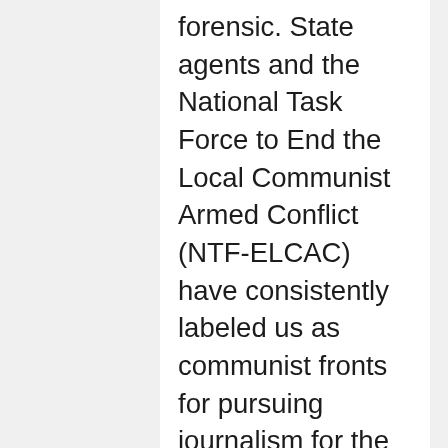forensic. State agents and the National Task Force to End the Local Communist Armed Conflict (NTF-ELCAC) have consistently labeled us as communist fronts for pursuing journalism for the people. Still, we are angered that taxpayers' money is being spent to bring down our website and to deny our readers access to our reportage.
We in Bulatlat and our